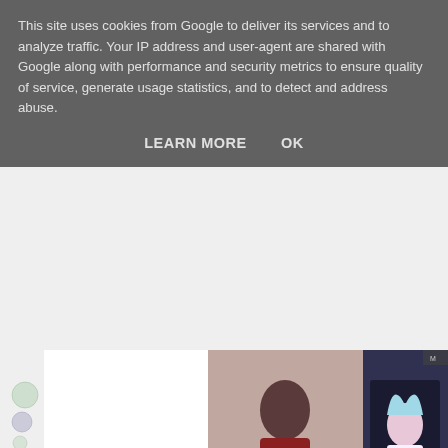This site uses cookies from Google to deliver its services and to analyze traffic. Your IP address and user-agent are shared with Google along with performance and security metrics to ensure quality of service, generate usage statistics, and to detect and address abuse.
LEARN MORE    OK
[Figure (photo): Photo of a woman in a red top holding a tray with cups, next to an anime illustration on a tablet screen]
The final delivery in the picture is NIS America's standard edition of Psychoelectric Girl (Denpa Onna To Seishun Otoko). It actually forgot to mention it. I already own the limited edition version of one reason alone.
[Figure (photo): Photo of a blue item with a quote: 'An offbeat take on the standard magical girl trope. A cut above its peers.' — Raindrops and Daydreams]